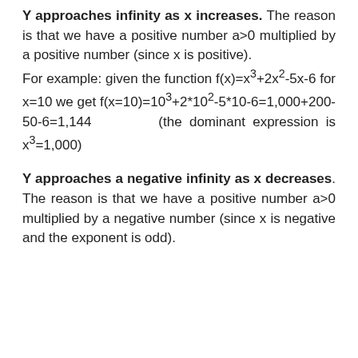Y approaches infinity as x increases. The reason is that we have a positive number a>0 multiplied by a positive number (since x is positive). For example: given the function f(x)=x³+2x²-5x-6 for x=10 we get f(x=10)=10³+2*10²-5*10-6=1,000+200-50-6=1,144 (the dominant expression is x³=1,000)
Y approaches a negative infinity as x decreases. The reason is that we have a positive number a>0 multiplied by a negative number (since x is negative and the exponent is odd).